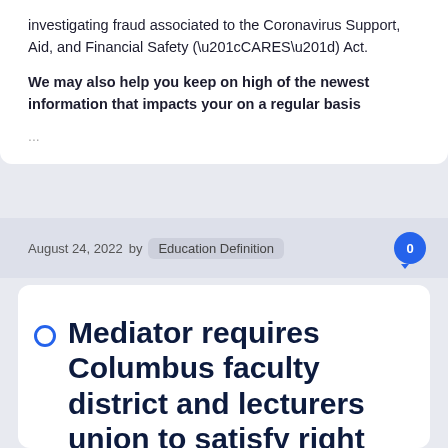investigating fraud associated to the Coronavirus Support, Aid, and Financial Safety (“CARES”) Act.
We may also help you keep on high of the newest information that impacts your on a regular basis
...
August 24, 2022 by Education Definition  0
Mediator requires Columbus faculty district and lecturers union to satisfy right now